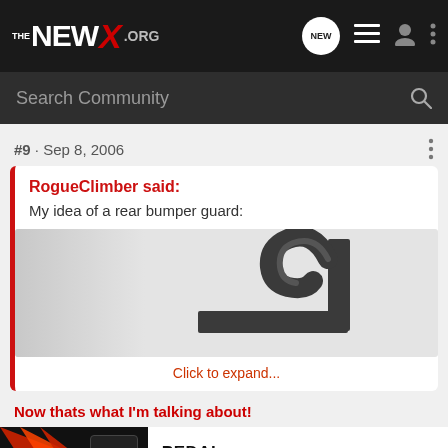THE NEW X .ORG
Search Community
#9 · Sep 8, 2006
RogueClimber said:
My idea of a rear bumper guard:
Click to expand...
[Figure (photo): A dark hook-shaped rear bumper guard device shown against a light grey background, partially visible]
Now thats what I'm talking about!
[Figure (infographic): Pedal Commander advertisement banner with orange/black rays, device image, Pedal Commander star logo, text: YOU WILL SMILE 100% WITH PEDAL COMMANDER]